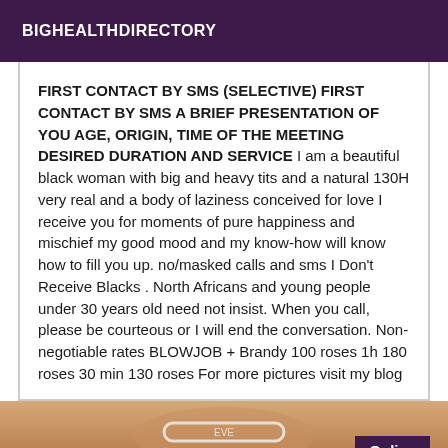BIGHEALTHDIRECTORY
FIRST CONTACT BY SMS (SELECTIVE) FIRST CONTACT BY SMS A BRIEF PRESENTATION OF YOU AGE, ORIGIN, TIME OF THE MEETING DESIRED DURATION AND SERVICE I am a beautiful black woman with big and heavy tits and a natural 130H very real and a body of laziness conceived for love I receive you for moments of pure happiness and mischief my good mood and my know-how will know how to fill you up. no/masked calls and sms I Don't Receive Blacks . North Africans and young people under 30 years old need not insist. When you call, please be courteous or I will end the conversation. Non-negotiable rates BLOWJOB + Brandy 100 roses 1h 180 roses 30 min 130 roses For more pictures visit my blog
[Figure (photo): Partial photo of a person, cropped, with a white bra strap visible, with an 'Online' badge overlay in dark purple]